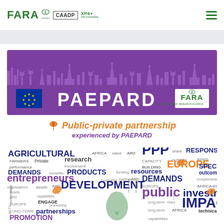FARA | CAADP XP4 PROGRAMME
[Figure (logo): PAEPARD banner with EU flag, PAEPARD text in white on purple background with silhouette skyline, and FARA logo]
Public-private partnership experienced by PAEPARD
[Figure (infographic): Word cloud featuring agricultural research and development terms: AGRICULTURAL, research, PPP, RESPONSIBILITY, partners, DEMANDS, entrepreneurs, DEVELOPMENT, public, investment, IMPACTS, EUROPE, ARD, PROMOTION, partnerships, and many more]